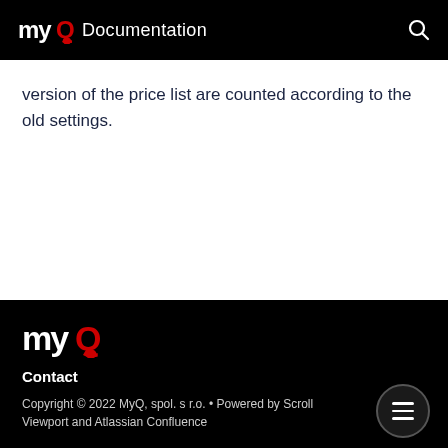myQ Documentation
version of the price list are counted according to the old settings.
[Figure (logo): MyQ logo in white and red on black background, footer]
Contact
Copyright © 2022 MyQ, spol. s r.o. • Powered by Scroll Viewport and Atlassian Confluence